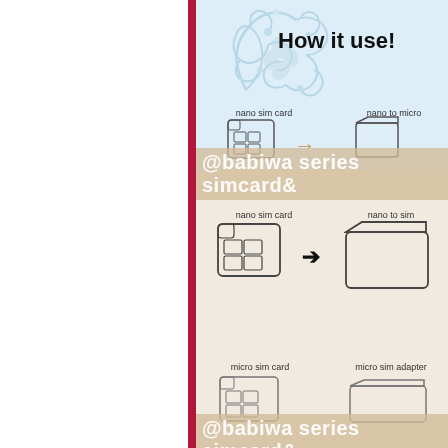[Figure (illustration): Instructional diagram showing how to use SIM card adapters. Top section shows nano sim card converting to nano to micro adapter with arrow. Middle section shows nano sim card converting to nano to sim (standard) adapter with arrow. Bottom section shows micro sim card with micro sim adapter. Two watermark bands read '@babiwa series simcard&...'. Decorative blue floral design in top-left corner of content area.]
How it use!